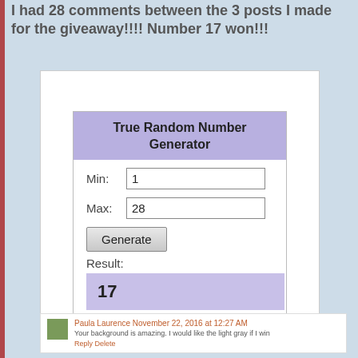I had 28 comments between the 3 posts I made for the giveaway!!!! Number 17 won!!!
[Figure (screenshot): Screenshot of a True Random Number Generator widget showing Min: 1, Max: 28, Generate button, Result: 17, Powered by RANDOM.ORG]
Paula Laurence November 22, 2016 at 12:27 AM
Your background is amazing. I would like the light gray if I win
Reply Delete